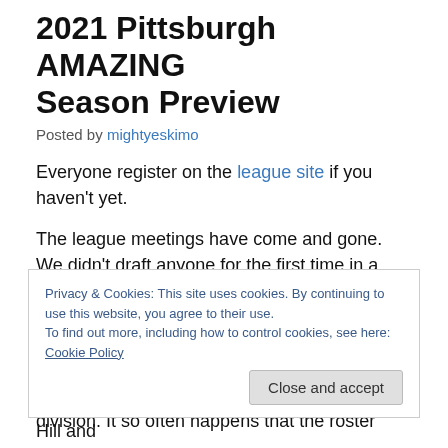2021 Pittsburgh AMAZING Season Preview
Posted by mightyeskimo
Everyone register on the league site if you haven't yet.
The league meetings have come and gone. We didn't draft anyone for the first time in a while. Our roster is pretty set. As always, we will need a few pitchers to step up if we're going to win a title. Hopefully that happens. Our lineup is solid. We should put up runs. Theoretically, we have the arms to win the division. It so often happens that the roster
Privacy & Cookies: This site uses cookies. By continuing to use this website, you agree to their use. To find out more, including how to control cookies, see here: Cookie Policy
We will split our home games between Spring Hill and